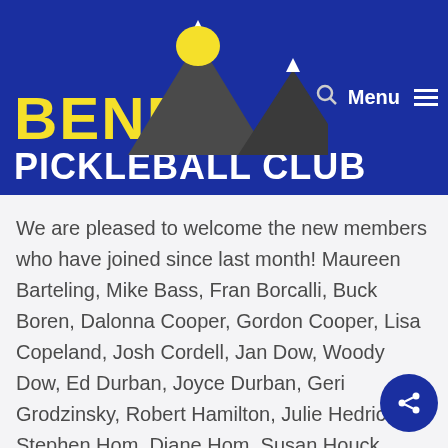[Figure (logo): Bend Pickleball Club logo with yellow 'BEND' text, white 'PICKLEBALL CLUB' text, mountain silhouette graphic with yellow sun, on dark blue background. Navigation icons (search, Menu, hamburger) in top right.]
We are pleased to welcome the new members who have joined since last month! Maureen Barteling, Mike Bass, Fran Borcalli, Buck Boren, Dalonna Cooper, Gordon Cooper, Lisa Copeland, Josh Cordell, Jan Dow, Woody Dow, Ed Durban, Joyce Durban, Geri Grodzinsky, Robert Hamilton, Julie Hedrick, Stephen Hom, Diane Hom, Susan Houck, Mike Houck, Kathryn Kendall, Jan Meredith, Mario Najera, Richard Paul, Joyce Pickersgill, Jim Poppaw, Laurie Roy, Mike Roy, Patti Sanders, Ginger Spohr, Tucker Spohr, Daniel Tworog, Cindy Wilson, Ted Wilson, Denise Wolfe, and Roger